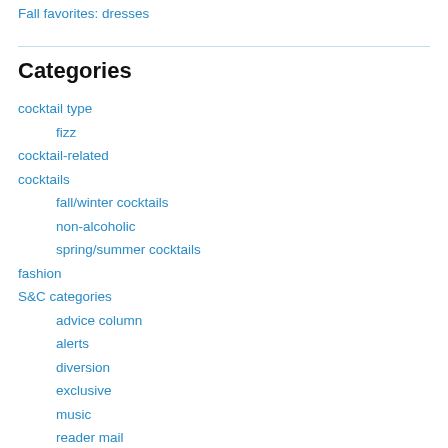Fall favorites: dresses
Categories
cocktail type
fizz
cocktail-related
cocktails
fall/winter cocktails
non-alcoholic
spring/summer cocktails
fashion
S&C categories
advice column
alerts
diversion
exclusive
music
reader mail
spotted